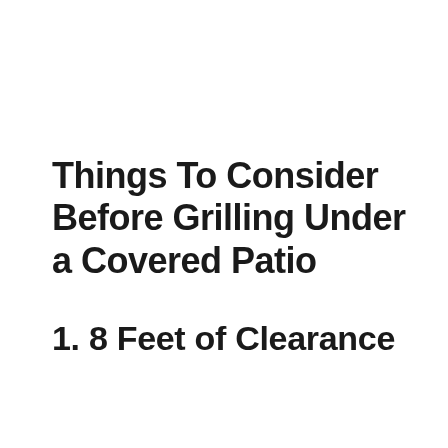Things To Consider Before Grilling Under a Covered Patio
1. 8 Feet of Clearance